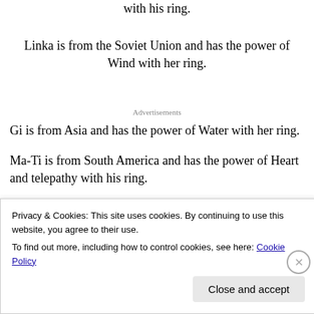with his ring.
Linka is from the Soviet Union and has the power of Wind with her ring.
Advertisements
Gi is from Asia and has the power of Water with her ring.
Ma-Ti is from South America and has the power of Heart and telepathy with his ring.
Privacy & Cookies: This site uses cookies. By continuing to use this website, you agree to their use.
To find out more, including how to control cookies, see here: Cookie Policy